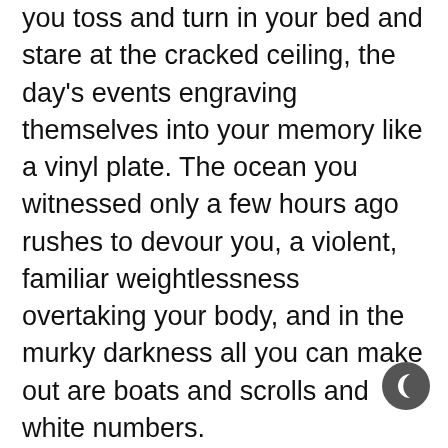you toss and turn in your bed and stare at the cracked ceiling, the day's events engraving themselves into your memory like a vinyl plate. The ocean you witnessed only a few hours ago rushes to devour you, a violent, familiar weightlessness overtaking your body, and in the murky darkness all you can make out are boats and scrolls and white numbers.
At some point you can't take it anymore. You swing your legs off the bed, move past the takeout boxes you had half-heartedly accepted earlier that evening, and exit the room. Outside, the sky is the clearest it's been all weekend, and the moon hangs low, milky and nearly full. You walk toward the desolate parking lot and stop just short of it, taking a seat on a nearby bench that basks in the glow of